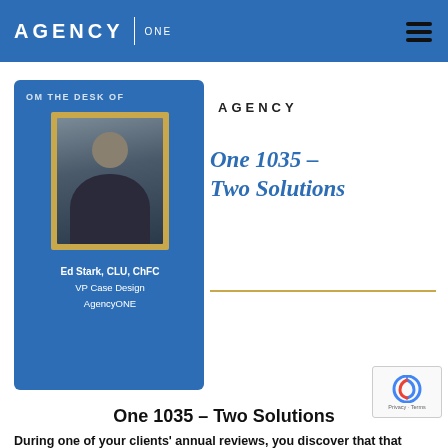AGENCY ONE
[Figure (other): Blue card with 'From the Desk of' heading, portrait photo of Ed Stark, and name/title text reading: Ed Stark, CLU, ChFC / VP Case Design / AgencyONE]
AGENCY
One 1035 – Two Solutions
One 1035 – Two Solutions
During one of your clients' annual reviews, you discover that that they have an old inforce policy that may or may not be underperforming with a